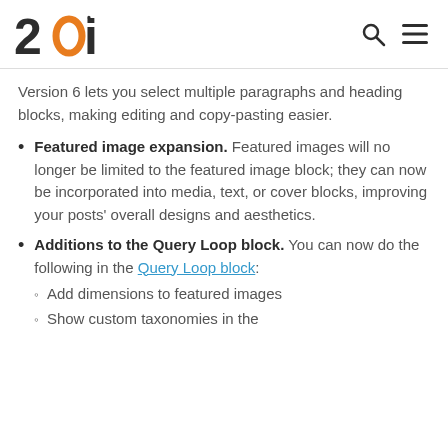20i
Version 6 lets you select multiple paragraphs and heading blocks, making editing and copy-pasting easier.
Featured image expansion. Featured images will no longer be limited to the featured image block; they can now be incorporated into media, text, or cover blocks, improving your posts' overall designs and aesthetics.
Additions to the Query Loop block. You can now do the following in the Query Loop block:
Add dimensions to featured images
Show custom taxonomies in the